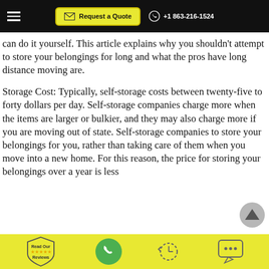Request a Quote  +1 863-216-1524
can do it yourself. This article explains why you shouldn't attempt to store your belongings for long and what the pros have long distance moving are.
Storage Cost: Typically, self-storage costs between twenty-five to forty dollars per day. Self-storage companies charge more when the items are larger or bulkier, and they may also charge more if you are moving out of state. Self-storage companies to store your belongings for you, rather than taking care of them when you move into a new home. For this reason, the price for storing your belongings over a year is less
Read Our Reviews  [phone icon]  [clock icon]  [chat icon]